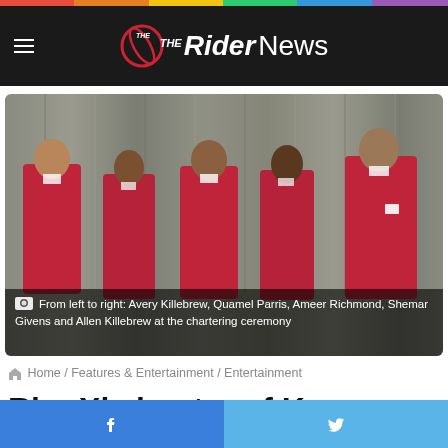The Rider News
[Figure (photo): Five men wearing red blazers standing in a line at a chartering ceremony, with grey curtains in the background.]
From left to right: Avery Killebrew, Quamel Parris, Ameer Richmond, Shemar Givens and Allen Killebrew at the chartering ceremony
Home / Features & Entertainment / Entertainment
Rho Xi chapter of Kappa